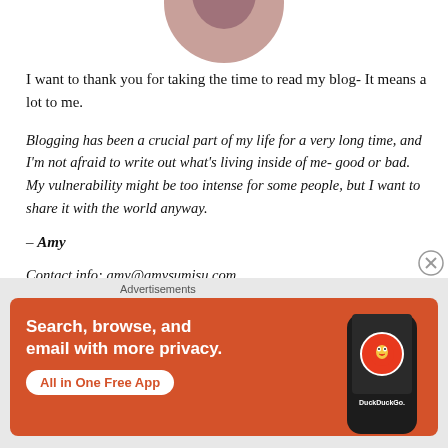[Figure (photo): Circular cropped profile photo of a person with dark hair and jewelry, partially visible at top of page]
I want to thank you for taking the time to read my blog- It means a lot to me.
Blogging has been a crucial part of my life for a very long time, and I'm not afraid to write out what's living inside of me- good or bad. My vulnerability might be too intense for some people, but I want to share it with the world anyway.
– Amy
Contact info: amy@amysumisu.com
[Figure (advertisement): DuckDuckGo advertisement banner with orange background. Text: Search, browse, and email with more privacy. All in One Free App. Shows phone with DuckDuckGo logo.]